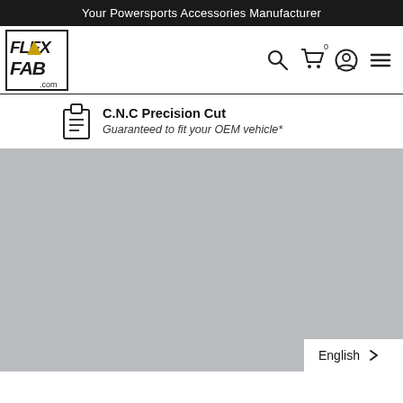Your Powersports Accessories Manufacturer
[Figure (logo): Flex-A-Fab logo with stylized text and triangular element]
C.N.C Precision Cut
Guaranteed to fit your OEM vehicle*
[Figure (photo): Gray placeholder product image area]
English >